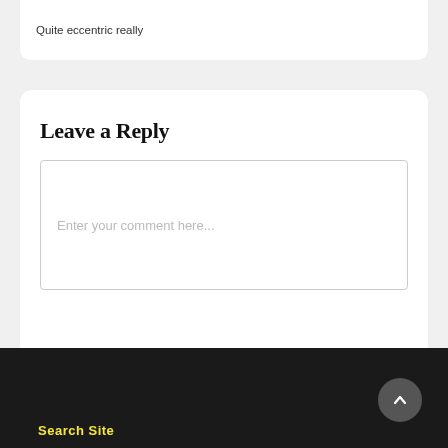Quite eccentric really
Leave a Reply
Enter your comment here...
Search Site